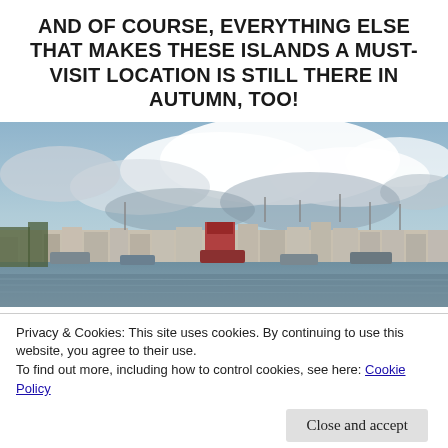AND OF COURSE, EVERYTHING ELSE THAT MAKES THESE ISLANDS A MUST-VISIT LOCATION IS STILL THERE IN AUTUMN, TOO!
[Figure (photo): Harbour town scene with boats moored in the foreground and a row of multi-storey buildings along the waterfront under a partly cloudy sky.]
Privacy & Cookies: This site uses cookies. By continuing to use this website, you agree to their use.
To find out more, including how to control cookies, see here: Cookie Policy
Close and accept
the Harris Distillery or North Distillery, or feasting at